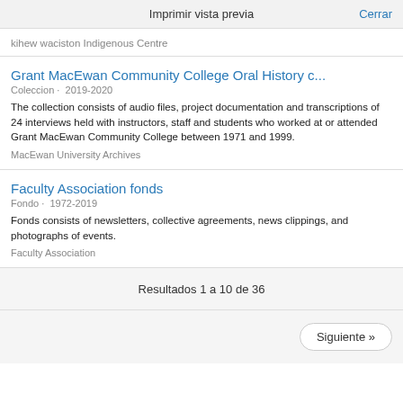Imprimir vista previa    Cerrar
kihew waciston Indigenous Centre
Grant MacEwan Community College Oral History c...
Coleccion · 2019-2020
The collection consists of audio files, project documentation and transcriptions of 24 interviews held with instructors, staff and students who worked at or attended Grant MacEwan Community College between 1971 and 1999.
MacEwan University Archives
Faculty Association fonds
Fondo · 1972-2019
Fonds consists of newsletters, collective agreements, news clippings, and photographs of events.
Faculty Association
Resultados 1 a 10 de 36
Siguiente »